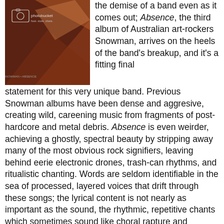[Figure (photo): Album cover photo for Snowman's 'Absence' - dark reddish-brown with abstract triangular shape and photobucket watermark]
the demise of a band even as it comes out; Absence, the third album of Australian art-rockers Snowman, arrives on the heels of the band's breakup, and it's a fitting final statement for this very unique band. Previous Snowman albums have been dense and aggresive, creating wild, careening music from fragments of post-hardcore and metal debris. Absence is even weirder, achieving a ghostly, spectral beauty by stripping away many of the most obvious rock signifiers, leaving behind eerie electronic drones, trash-can rhythms, and ritualistic chanting. Words are seldom identifiable in the sea of processed, layered voices that drift through these songs; the lyrical content is not nearly as important as the sound, the rhythmic, repetitive chants which sometimes sound like choral rapture and sometimes like excerpts from some sinister pagan ritual. [buy]
38. Ferran Fages/Robin Hayward/Nikos Veliotis | Tables and Stairs (Organized Music from Thessaloniki)
The tendency in avant-garde music is to emphasize constant